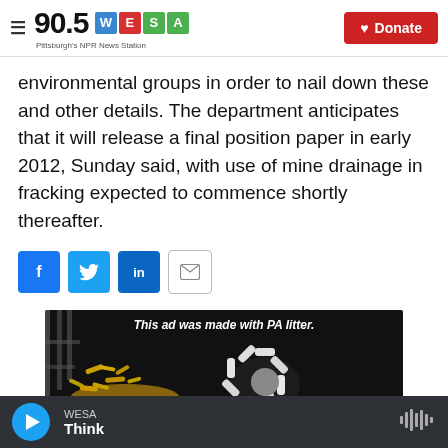90.5 WESA — Pittsburgh's NPR News Station
environmental groups in order to nail down these and other details. The department anticipates that it will release a final position paper in early 2012, Sunday said, with use of mine drainage in fracking expected to commence shortly thereafter.
[Figure (other): Social share buttons: Facebook, Twitter, LinkedIn, Email]
[Figure (photo): Advertisement showing cigarette butts arranged in the shape of a flower/litter creature on a dark background with text: This ad was made with PA litter.]
WESA — Think (audio player bar)